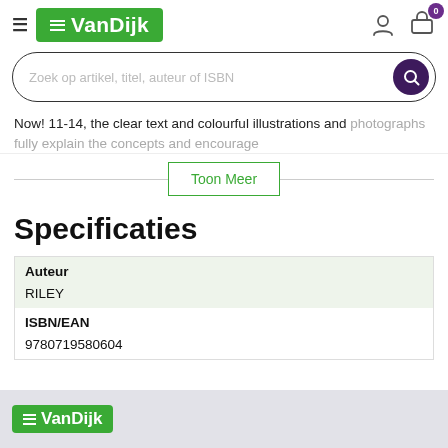[Figure (logo): VanDijk logo in green box with hamburger menu icon]
[Figure (screenshot): Search bar with placeholder text and search button]
Now! 11-14, the clear text and colourful illustrations and photographs fully explain the concepts and encourage
Toon Meer
Specificaties
| Auteur | RILEY |
| ISBN/EAN | 9780719580604 |
[Figure (logo): VanDijk footer logo in green box]